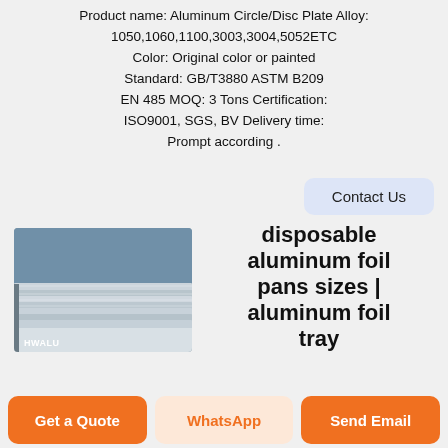Product name: Aluminum Circle/Disc Plate Alloy: 1050,1060,1100,3003,3004,5052ETC Color: Original color or painted Standard: GB/T3880 ASTM B209 EN 485 MOQ: 3 Tons Certification: ISO9001, SGS, BV Delivery time: Prompt according .
Contact Us
[Figure (photo): Photo of stacked aluminum/metal sheets in a warehouse with HWALU label in bottom left corner]
disposable aluminum foil pans sizes | aluminum foil tray
Get a Quote
WhatsApp
Send Email